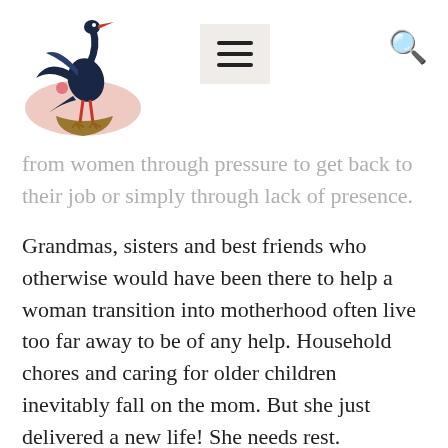[Logo: Marabou stork illustration] [Menu button] [Search icon]
from women through pressure to get back to their job or simply through lack of presence.
Grandmas, sisters and best friends who otherwise would have been there to help a woman transition into motherhood often live too far away to be of any help. Household chores and caring for older children inevitably fall on the mom. But she just delivered a new life! She needs rest.
Marabou Services is a unique gift registry which provides services instead of stuff. Most mom's get too